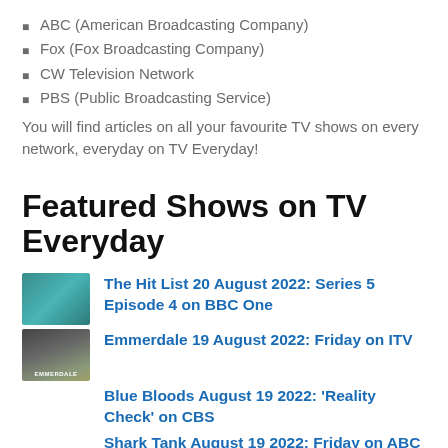ABC (American Broadcasting Company)
Fox (Fox Broadcasting Company)
CW Television Network
PBS (Public Broadcasting Service)
You will find articles on all your favourite TV shows on every network, everyday on TV Everyday!
Featured Shows on TV Everyday
The Hit List 20 August 2022: Series 5 Episode 4 on BBC One
Emmerdale 19 August 2022: Friday on ITV
Blue Bloods August 19 2022: 'Reality Check' on CBS
Shark Tank August 19 2022: Friday on ABC
Wheel of Fortune August 19 2022: Winner,